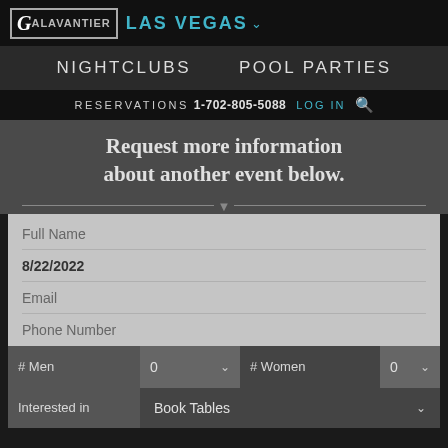GALAVANTIER | LAS VEGAS
NIGHTCLUBS   POOL PARTIES
RESERVATIONS 1-702-805-5088 LOG IN
Request more information about another event below.
Full Name
8/22/2022
Email
Phone Number
# Men   0   # Women   0
Interested in   Book Tables